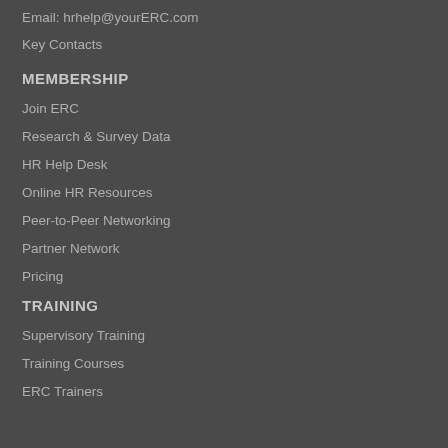Email: hrhelp@yourERC.com
Key Contacts
MEMBERSHIP
Join ERC
Research & Survey Data
HR Help Desk
Online HR Resources
Peer-to-Peer Networking
Partner Network
Pricing
TRAINING
Supervisory Training
Training Courses
ERC Trainers